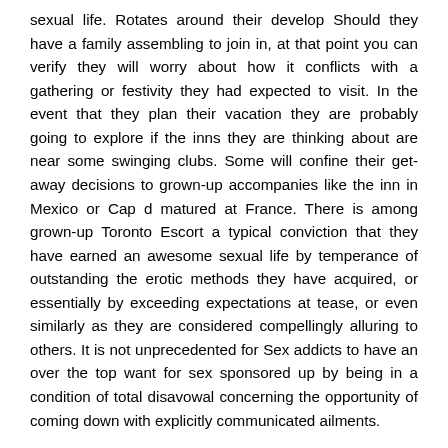sexual life. Rotates around their develop Should they have a family assembling to join in, at that point you can verify they will worry about how it conflicts with a gathering or festivity they had expected to visit. In the event that they plan their vacation they are probably going to explore if the inns they are thinking about are near some swinging clubs. Some will confine their get-away decisions to grown-up accompanies like the inn in Mexico or Cap d matured at France. There is among grown-up Toronto Escort a typical conviction that they have earned an awesome sexual life by temperance of outstanding the erotic methods they have acquired, or essentially by exceeding expectations at tease, or even similarly as they are considered compellingly alluring to others. It is not unprecedented for Sex addicts to have an over the top want for sex sponsored up by being in a condition of total disavowal concerning the opportunity of coming down with explicitly communicated ailments.